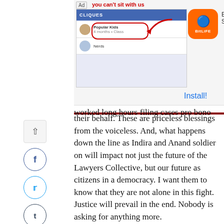[Figure (screenshot): BitLife app advertisement screenshot showing a Facebook-like interface with a red arrow pointing to 'Popular Kids' group, alongside the BitLife app icon and an Install link]
worked long hours filing cases pro bono on their behalf. These are priceless blessings from the voiceless. And, what happens down the line as Indira and Anand soldier on will impact not just the future of the Lawyers Collective, but our future as citizens in a democracy. I want them to know that they are not alone in this fight. Justice will prevail in the end. Nobody is asking for anything more.
www.shobhaade.blogspot.com
TAGS
Opinion
DeTour